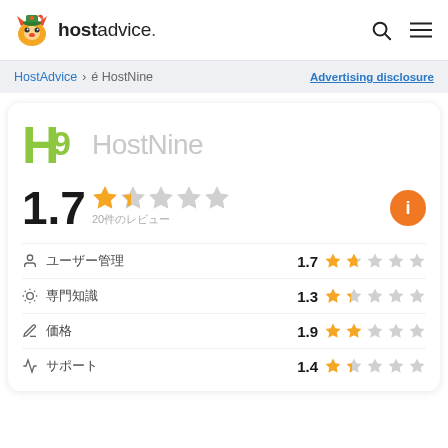hostadvice.
HostAdvice > 復讐 HostNine  Advertising disclosure
[Figure (logo): HostNine logo with H9 green stylized text and HostNine gray text]
1.7 stars — 20件のレビュー
| Category | Score | Stars |
| --- | --- | --- |
| 匿名ユーザー | 1.7 | ★★☆☆☆ |
| 専門知識 | 1.3 | ★☆☆☆☆ |
| 価格 | 1.9 | ★★☆☆☆ |
| サポート | 1.4 | ★★☆☆☆ |